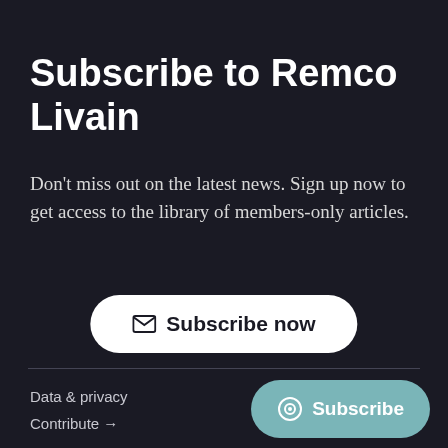Subscribe to Remco Livain
Don't miss out on the latest news. Sign up now to get access to the library of members-only articles.
[Figure (other): White rounded-pill button with envelope icon and text 'Subscribe now' on dark background]
Data & privacy
Contribute →
[Figure (other): Teal/muted cyan rounded-pill button with Ghost logo icon and text 'Subscribe']